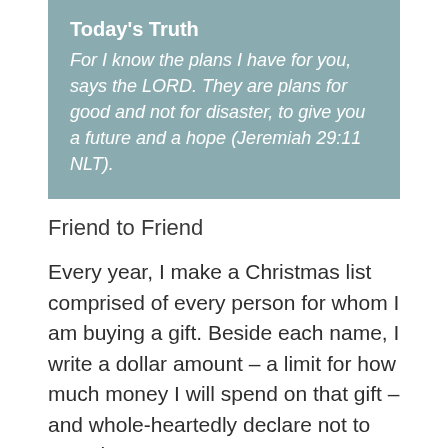[Figure (other): Teal/blue-grey quote box with bold title 'Today's Truth' and italic Bible verse text]
Friend to Friend
Every year, I make a Christmas list comprised of every person for whom I am buying a gift. Beside each name, I write a dollar amount – a limit for how much money I will spend on that gift – and whole-heartedly declare not to spend one penny more.